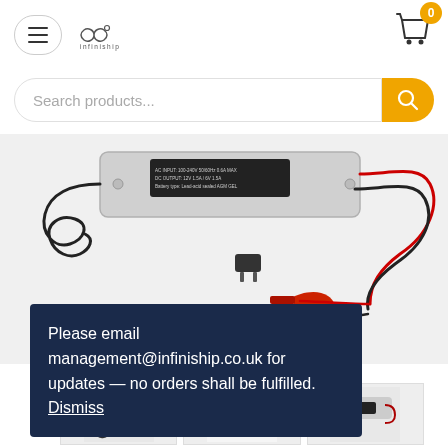[Figure (screenshot): Website header with hamburger menu button, Infiniship logo, and shopping cart icon with badge showing 0]
[Figure (screenshot): Search bar with placeholder text 'Search products...' and yellow search button]
[Figure (photo): Product photo of a battery charger device with red and black cables, alligator clips, and power plug on white background]
Please email management@infiniship.co.uk for updates — no orders shall be fulfilled. Dismiss
[Figure (photo): Thumbnail images of battery chargers at the bottom of the page]